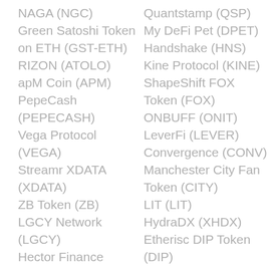NAGA (NGC)
Green Satoshi Token on ETH (GST-ETH)
RIZON (ATOLO)
apM Coin (APM)
PepeCash (PEPECASH)
Vega Protocol (VEGA)
Streamr XDATA (XDATA)
ZB Token (ZB)
LGCY Network (LGCY)
Hector Finance (HEC)
Hotbit Token (HTB)
Meerkat Shares (MSHARE)
BnkToTheFuture (BFT)
DEUS Finance (DEUS)
CateCoin (CATE)
Freeway Token (FWT)
Router Protocol (ROUTE)
Quantstamp (QSP)
My DeFi Pet (DPET)
Handshake (HNS)
Kine Protocol (KINE)
ShapeShift FOX Token (FOX)
ONBUFF (ONIT)
LeverFi (LEVER)
Convergence (CONV)
Manchester City Fan Token (CITY)
LIT (LIT)
HydraDX (XHDX)
Etherisc DIP Token (DIP)
sLINK (SLINK)
Stakenet (XSN)
Paris Saint-Germain Fan Token (PSG)
Volt Inu (VOLT)